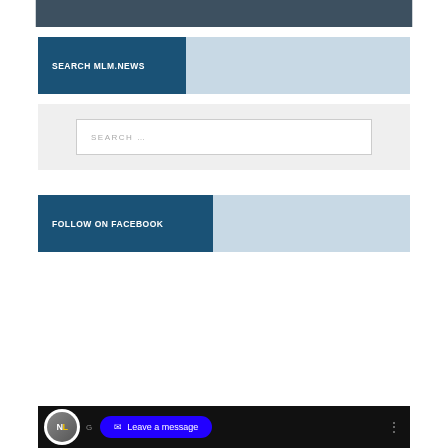[Figure (photo): Partial photo of a person wearing a watch and dark clothing, cropped at the top of the page]
SEARCH MLM.NEWS
SEARCH ...
FOLLOW ON FACEBOOK
[Figure (screenshot): Bottom video widget strip showing NL logo, a G letter, a blue 'Leave a message' button with envelope icon, and a three-dot menu]